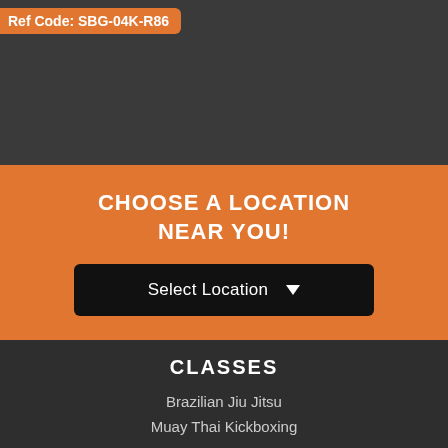Ref Code: SBG-04K-R86
CHOOSE A LOCATION NEAR YOU!
Select Location
CLASSES
Brazilian Jiu Jitsu
Muay Thai Kickboxing